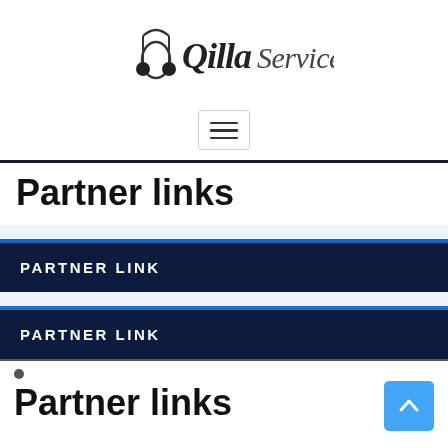[Figure (logo): QillaService logo with stylized cursive text and music note icon]
[Figure (other): Hamburger menu button with three horizontal lines]
Partner links
PARTNER LINK
PARTNER LINK
Partner links